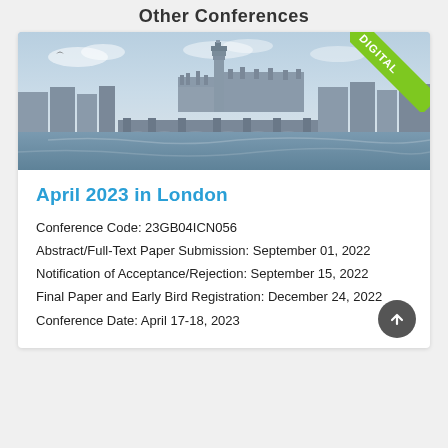Other Conferences
[Figure (photo): London skyline showing the Houses of Parliament, Big Ben, Westminster Bridge, and the River Thames with a bird flying in the sky. A green 'DIGITAL' banner badge is in the top-right corner.]
April 2023 in London
Conference Code: 23GB04ICN056
Abstract/Full-Text Paper Submission: September 01, 2022
Notification of Acceptance/Rejection: September 15, 2022
Final Paper and Early Bird Registration: December 24, 2022
Conference Date: April 17-18, 2023